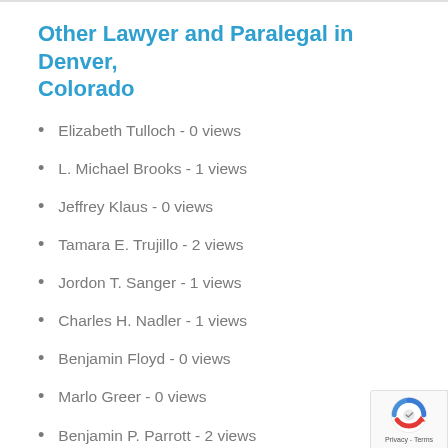Other Lawyer and Paralegal in Denver, Colorado
Elizabeth Tulloch - 0 views
L. Michael Brooks - 1 views
Jeffrey Klaus - 0 views
Tamara E. Trujillo - 2 views
Jordon T. Sanger - 1 views
Charles H. Nadler - 1 views
Benjamin Floyd - 0 views
Marlo Greer - 0 views
Benjamin P. Parrott - 2 views
[Figure (logo): reCAPTCHA badge with Privacy and Terms text]